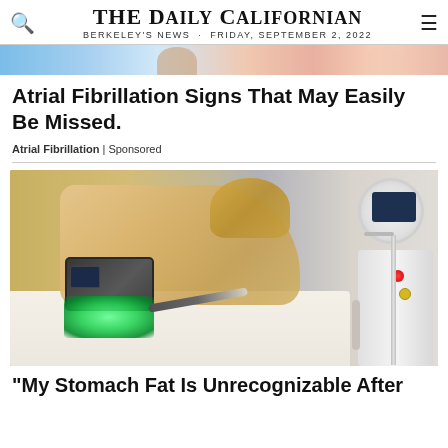THE DAILY CALIFORNIAN — BERKELEY'S NEWS · FRIDAY, SEPTEMBER 2, 2022
[Figure (photo): Partial illustration strip at the top of the page]
Atrial Fibrillation Signs That May Easily Be Missed.
Atrial Fibrillation | Sponsored
[Figure (photo): Photo of a person lying on a treatment bed receiving a body contouring treatment with a green-lit device on their body and a large white machine visible in the background]
"My Stomach Fat Is Unrecognizable After